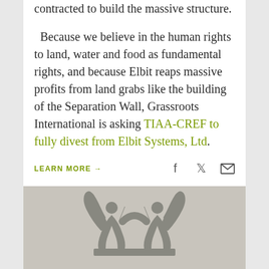contracted to build the massive structure. Because we believe in the human rights to land, water and food as fundamental rights, and because Elbit reaps massive profits from land grabs like the building of the Separation Wall, Grassroots International is asking TIAA-CREF to fully divest from Elbit Systems, Ltd.
LEARN MORE →
[Figure (logo): Grassroots International logo — stylized figures with raised arms forming a crown/flower shape, rendered in muted gray on a tan/gray background]